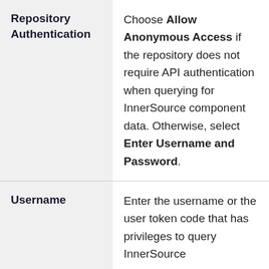| Field | Description |
| --- | --- |
| Repository Authentication | Choose Allow Anonymous Access if the repository does not require API authentication when querying for InnerSource component data. Otherwise, select Enter Username and Password. |
| Username | Enter the username or the user token code that has privileges to query InnerSource |